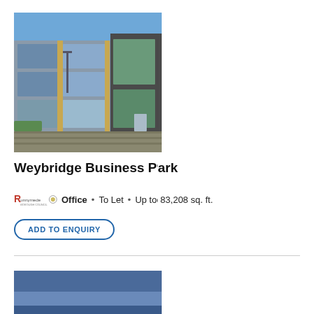[Figure (photo): Modern office building with glass facade and metal cladding, clear blue sky background, paved parking area in foreground]
Weybridge Business Park
Office · To Let · Up to 83,208 sq. ft.
ADD TO ENQUIRY
[Figure (photo): Partially visible blue/grey image at bottom, likely another property photo]